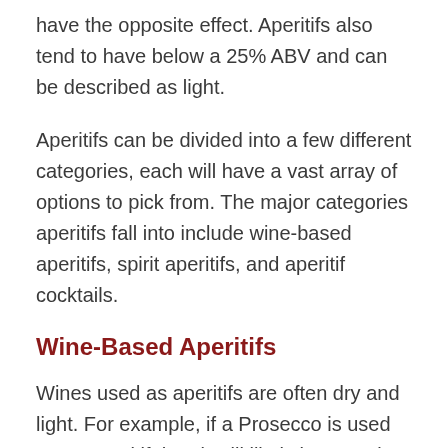have the opposite effect. Aperitifs also tend to have below a 25% ABV and can be described as light.
Aperitifs can be divided into a few different categories, each will have a vast array of options to pick from. The major categories aperitifs fall into include wine-based aperitifs, spirit aperitifs, and aperitif cocktails.
Wine-Based Aperitifs
Wines used as aperitifs are often dry and light. For example, if a Prosecco is used as an aperitif then it will likely be extra brut or brut rather than a sweet type. Wine-based aperitifs include options like Vermouth, Lillet Blanc,